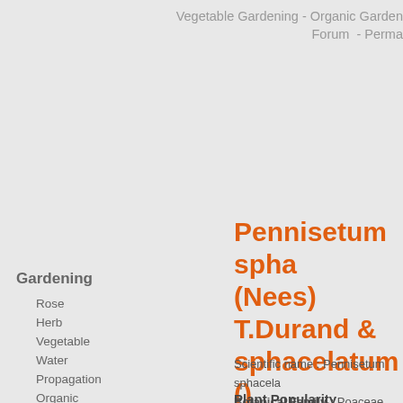Vegetable Gardening - Organic Gardening Forum - Perma
Pennisetum sphacelatum (Nees) T.Durand & sphacelatum ()
Gardening
Rose
Herb
Vegetable
Water
Propagation
Organic
Growing Fruit
Growing Tomatoes
Composting
Soil
All about Sheds
Container
Hydroponics
Flower
Scientific name : Pennisetum sphacelatum
Botanical Family : Poaceae
Plant Popularity
The plant Pennisetum sphacelatum (N